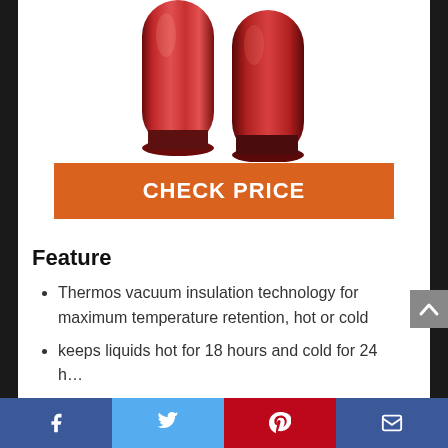[Figure (photo): Red stainless steel thermos/vacuum flask, showing the top portion of the bottle with a shiny metallic red finish]
CHECK PRICE
Feature
Thermos vacuum insulation technology for maximum temperature retention, hot or cold
keeps liquids hot for 18 hours and cold for 24 h…